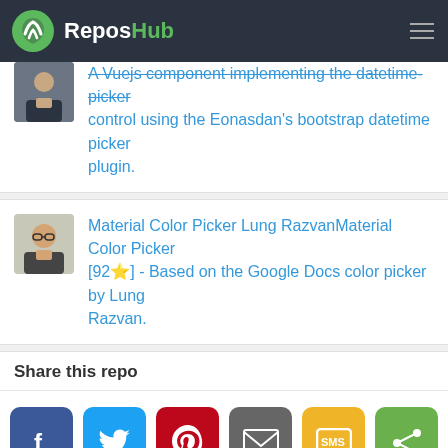ReposHub
A Vuejs component implementing the datetime-picker control using the Eonasdan's bootstrap datetime picker plugin.
Material Color Picker Lung RazvanMaterial Color Picker [92⭐] - Based on the Google Docs color picker by Lung Razvan.
Share this repo
[Figure (infographic): Social sharing buttons: Facebook (blue), Twitter (light blue), Pinterest (red), Email (gray), SMS (yellow/orange), Share (green)]
Related Repos